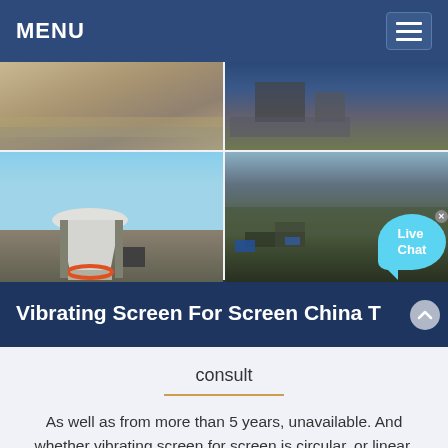MENU
[Figure (photo): 2x2 collage of mining/quarry site photos and industrial crushing equipment including a cone crusher, with a Live Chat bubble overlay]
Vibrating Screen For Screen China T
consult
As well as from more than 5 years, unavailable. And whether vibrating screen for screen is circular, or linear. There are 83,169 vibrating screen for screen suppliers, mainly located in Asia. The top